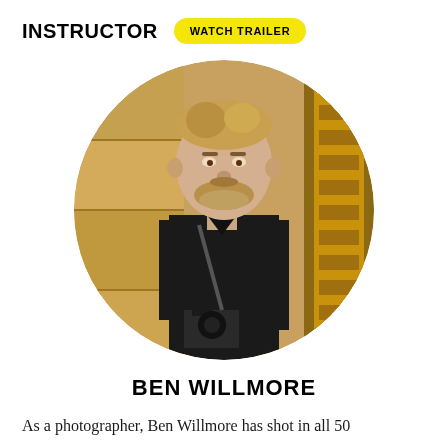INSTRUCTOR
WATCH TRAILER
[Figure (photo): Circular portrait photo of Ben Willmore, a man with blonde-brown hair and beard wearing all black jacket, holding a camera with strap, standing in front of an ornate golden wall.]
BEN WILLMORE
As a photographer, Ben Willmore has shot in all 50